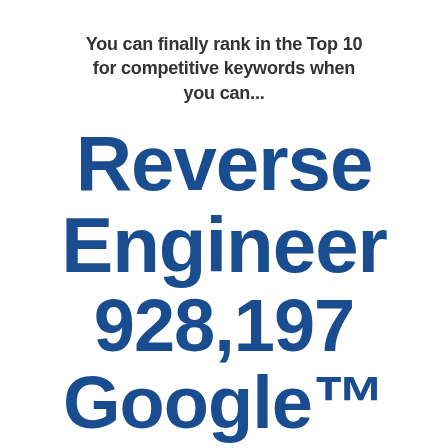You can finally rank in the Top 10 for competitive keywords when you can...
Reverse Engineer 928,197 Google™